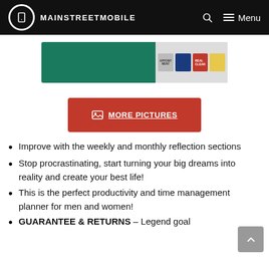MAINSTREETMOBILE
[Figure (photo): Product photo showing a teal/green planner book with stickers including appointment and other labels]
MORE PICTURES
Improve with the weekly and monthly reflection sections
Stop procrastinating, start turning your big dreams into reality and create your best life!
This is the perfect productivity and time management planner for men and women!
GUARANTEE & RETURNS – Legend goal